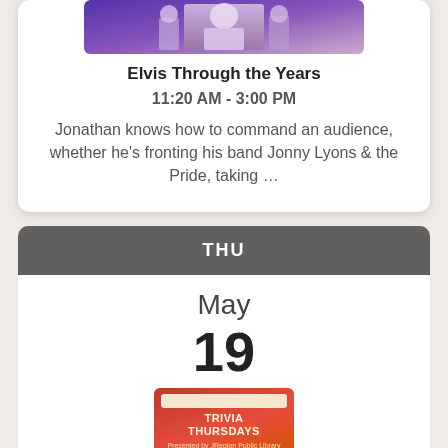[Figure (photo): Photo of Elvis performer on stage with purple/blue lighting]
Elvis Through the Years
11:20 AM - 3:00 PM
Jonathan knows how to command an audience, whether he's fronting his band Jonny Lyons & the Pride, taking …
THU
May
19
[Figure (photo): Trivia Thursdays event poster with colorful design]